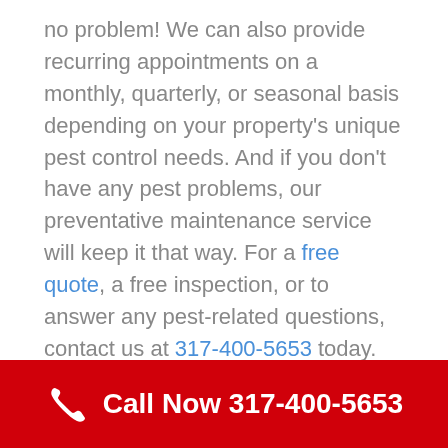no problem! We can also provide recurring appointments on a monthly, quarterly, or seasonal basis depending on your property's unique pest control needs. And if you don't have any pest problems, our preventative maintenance service will keep it that way. For a free quote, a free inspection, or to answer any pest-related questions, contact us at 317-400-5653 today.
Piece of Mind Pest Protection
Premium Pest Service without the Premium Cost
Call Now 317-400-5653